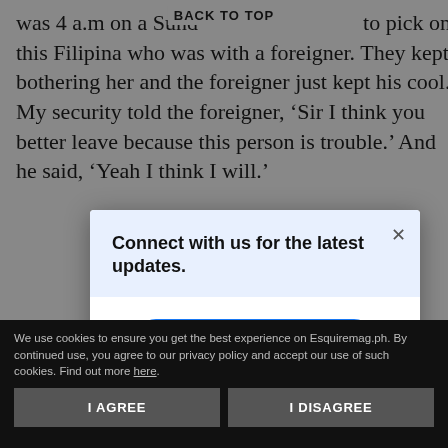was 4 a.m on a Sund  to pick on this Filipina who was with a foreigner. They kept bothering her and the foreigner just kept his cool. My security told the foreigner, ‘Sir I think you better leave because this person is trouble.’ And he said, ‘Yeah I think I will.’
BACK TO TOP
[Figure (screenshot): Modal popup with light blue header saying 'Connect with us for the latest updates.' and a blue 'Send to Messenger' button below, with an X close button]
[Figure (screenshot): Dark share button on right edge with arrow icon and text 'ARE']
We use cookies to ensure you get the best experience on Esquiremag.ph. By continued use, you agree to our privacy policy and accept our use of such cookies. Find out more here.
I AGREE
I DISAGREE